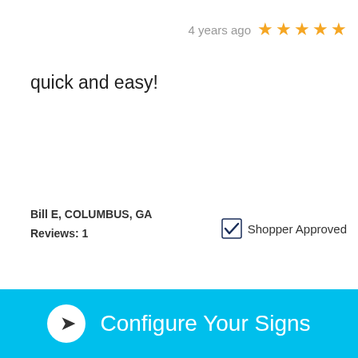4 years ago ★★★★★
quick and easy!
Bill E, COLUMBUS, GA
Reviews: 1
[Figure (logo): Shopper Approved logo with checkmark icon and text 'Shopper Approved']
4 years ago ★★★★★
Configure Your Signs